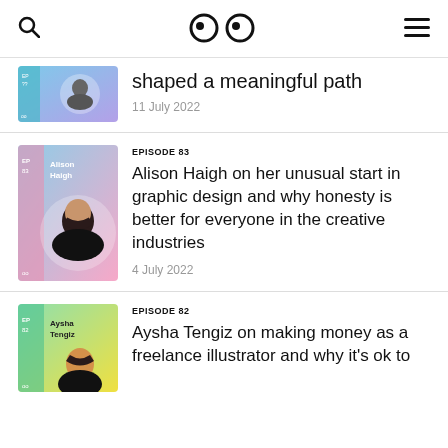🔍  👀  ☰
shaped a meaningful path
11 July 2022
EPISODE 83
[Figure (illustration): Episode 83 thumbnail with Alison Haigh portrait on pink/blue gradient background]
Alison Haigh on her unusual start in graphic design and why honesty is better for everyone in the creative industries
4 July 2022
EPISODE 82
[Figure (illustration): Episode 82 thumbnail with Aysha Tengiz portrait on green/yellow gradient background]
Aysha Tengiz on making money as a freelance illustrator and why it's ok to